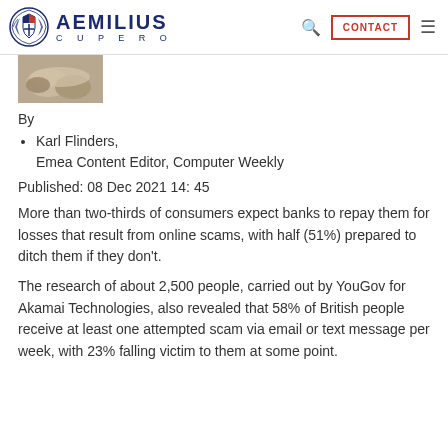AEMILIUS CUPERO
[Figure (photo): Close-up photo of hands, grayscale tones]
By
Karl Flinders,
Emea Content Editor, Computer Weekly
Published: 08 Dec 2021 14: 45
More than two-thirds of consumers expect banks to repay them for losses that result from online scams, with half (51%) prepared to ditch them if they don't.
The research of about 2,500 people, carried out by YouGov for Akamai Technologies, also revealed that 58% of British people receive at least one attempted scam via email or text message per week, with 23% falling victim to them at some point.